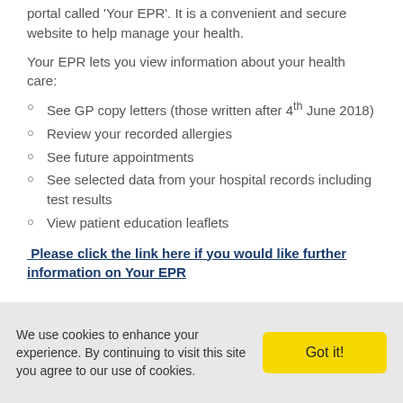portal called 'Your EPR'. It is a convenient and secure website to help manage your health.
Your EPR lets you view information about your health care:
See GP copy letters (those written after 4th June 2018)
Review your recorded allergies
See future appointments
See selected data from your hospital records including test results
View patient education leaflets
Please click the link here if you would like further information on Your EPR
We use cookies to enhance your experience. By continuing to visit this site you agree to our use of cookies.